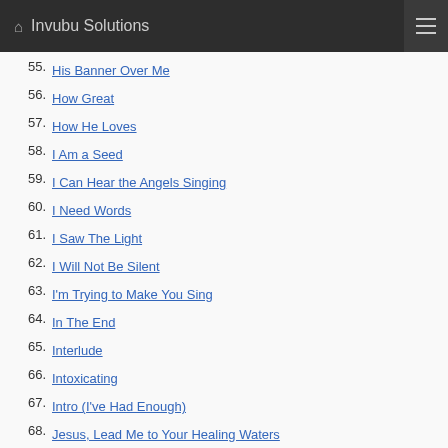Invubu Solutions
55. His Banner Over Me
56. How Great
57. How He Loves
58. I Am a Seed
59. I Can Hear the Angels Singing
60. I Need Words
61. I Saw The Light
62. I Will Not Be Silent
63. I'm Trying to Make You Sing
64. In The End
65. Interlude
66. Intoxicating
67. Intro (I've Had Enough)
68. Jesus, Lead Me to Your Healing Waters
69. Joy To The World
70. Joyful Noise - I Will Not Be Silent
71. Leaning On the Everlasting Arms - 'Tis So Sweet to Trust in Jesus (Medley)